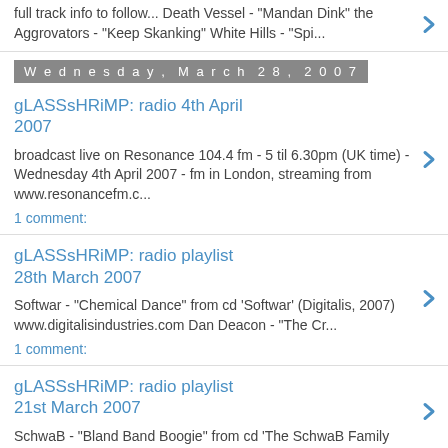full track info to follow... Death Vessel - "Mandan Dink" the Aggrovators - "Keep Skanking" White Hills - "Spi...
Wednesday, March 28, 2007
gLASSsHRiMP: radio 4th April 2007
broadcast live on Resonance 104.4 fm - 5 til 6.30pm (UK time) - Wednesday 4th April 2007 - fm in London, streaming from www.resonancefm.c...
1 comment:
gLASSsHRiMP: radio playlist 28th March 2007
Softwar - "Chemical Dance" from cd 'Softwar' (Digitalis, 2007) www.digitalisindustries.com Dan Deacon - "The Cr...
1 comment:
gLASSsHRiMP: radio playlist 21st March 2007
SchwaB - "Bland Band Boogie" from cd 'The SchwaB Family